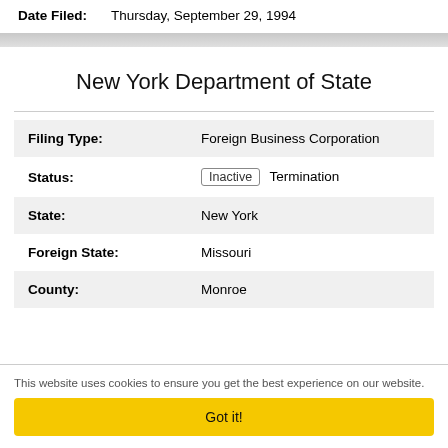Date Filed: Thursday, September 29, 1994
New York Department of State
| Field | Value |
| --- | --- |
| Filing Type: | Foreign Business Corporation |
| Status: | Inactive  Termination |
| State: | New York |
| Foreign State: | Missouri |
| County: | Monroe |
This website uses cookies to ensure you get the best experience on our website.
Got it!